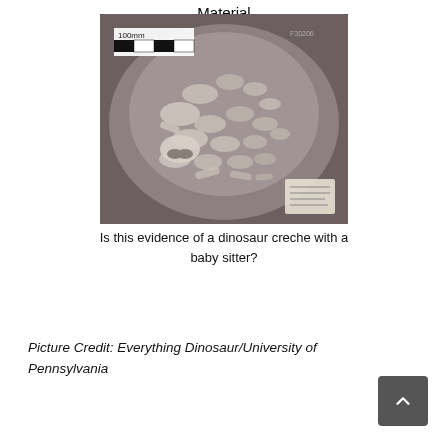Material
[Figure (photo): Black and white photograph of a fossil specimen showing multiple dinosaur skeletons (possibly juveniles) clustered together in a rounded rock matrix. A scale bar reading 100mm is visible in the upper left corner. A small information placard is visible in the lower right of the specimen.]
Is this evidence of a dinosaur creche with a baby sitter?
Picture Credit: Everything Dinosaur/University of Pennsylvania